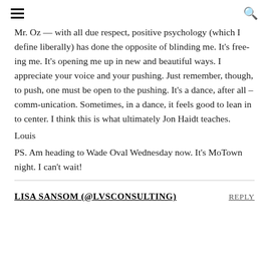≡  🔍
Mr. Oz — with all due respect, positive psychology (which I define liberally) has done the opposite of blinding me. It's free-ing me. It's opening me up in new and beautiful ways. I appreciate your voice and your pushing. Just remember, though, to push, one must be open to the pushing. It's a dance, after all – comm-unication. Sometimes, in a dance, it feels good to lean in to center. I think this is what ultimately Jon Haidt teaches.
Louis
PS. Am heading to Wade Oval Wednesday now. It's MoTown night. I can't wait!
LISA SANSOM (@LVSCONSULTING)
REPLY